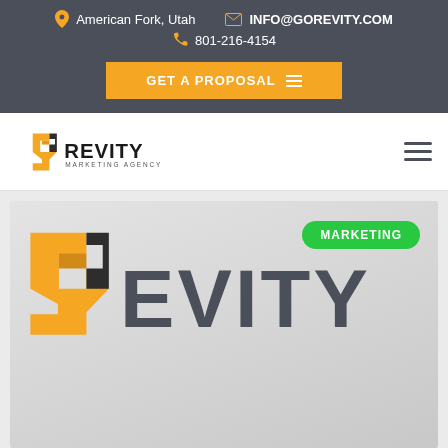American Fork, Utah | INFO@GOREVITY.COM | 801-216-4154
GET A PROPOSAL
[Figure (logo): Revity Marketing Agency logo - orange R arrow mark with REVITY text and MARKETING AGENCY subtitle]
[Figure (illustration): Large Revity logo card with orange geometric R icon and dark grey REVITY text on light grey background, with green MARKETING badge]